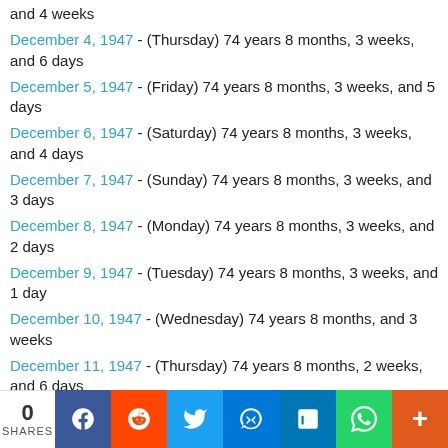and 4 weeks
December 4, 1947 - (Thursday) 74 years 8 months, 3 weeks, and 6 days
December 5, 1947 - (Friday) 74 years 8 months, 3 weeks, and 5 days
December 6, 1947 - (Saturday) 74 years 8 months, 3 weeks, and 4 days
December 7, 1947 - (Sunday) 74 years 8 months, 3 weeks, and 3 days
December 8, 1947 - (Monday) 74 years 8 months, 3 weeks, and 2 days
December 9, 1947 - (Tuesday) 74 years 8 months, 3 weeks, and 1 day
December 10, 1947 - (Wednesday) 74 years 8 months, and 3 weeks
December 11, 1947 - (Thursday) 74 years 8 months, 2 weeks, and 6 days
December 12, 1947 - (Friday) 74 years 8 months, 2 weeks, and 5 days
December 13, 1947 - (Saturday) 74 years 8 months, 2
0 SHARES | Facebook | Reddit | Twitter | Messenger | LinkedIn | WhatsApp | More